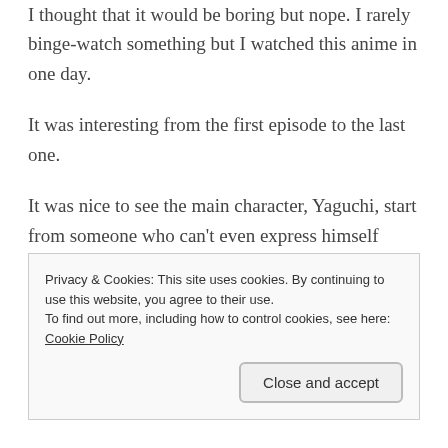I thought that it would be boring but nope. I rarely binge-watch something but I watched this anime in one day.
It was interesting from the first episode to the last one.
It was nice to see the main character, Yaguchi, start from someone who can't even express himself properly through art to someone who can make good art that can stand out from the rest.
I especially like the perseverance that f...
Privacy & Cookies: This site uses cookies. By continuing to use this website, you agree to their use.
To find out more, including how to control cookies, see here: Cookie Policy